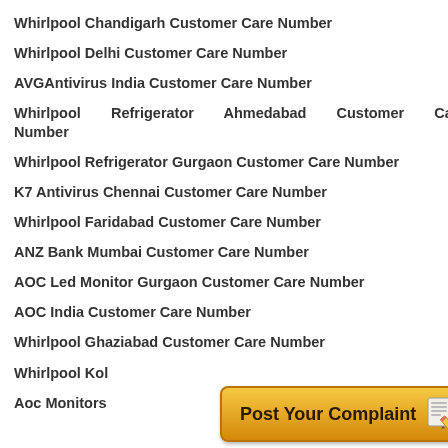Whirlpool Chandigarh Customer Care Number
Whirlpool Delhi Customer Care Number
AVGAntivirus India Customer Care Number
Whirlpool Refrigerator Ahmedabad Customer Care Number
Whirlpool Refrigerator Gurgaon Customer Care Number
K7 Antivirus Chennai Customer Care Number
Whirlpool Faridabad Customer Care Number
ANZ Bank Mumbai Customer Care Number
AOC Led Monitor Gurgaon Customer Care Number
AOC India Customer Care Number
Whirlpool Ghaziabad Customer Care Number
Whirlpool Kol…
Aoc Monitors…
[Figure (infographic): Golden/yellow button with text 'Post Your Complaint' and a notepad-pencil icon]